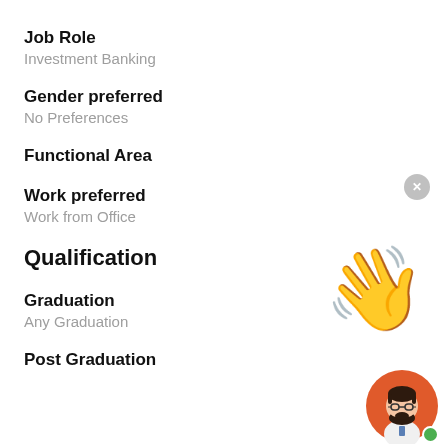Job Role
Investment Banking
Gender preferred
No Preferences
Functional Area
Work preferred
Work from Office
[Figure (illustration): Waving hand emoji (👋) in yellow]
Qualification
Graduation
Any Graduation
Post Graduation
[Figure (illustration): Avatar of a man with beard and glasses on orange circular background with green online indicator dot]